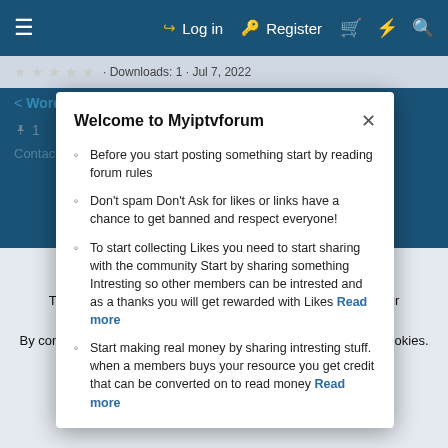≡  Log in  Register  🛒  ⚡  🔍
★ ★ ★ ★ ★ · Downloads: 1 · Jul 7, 2022
< WordPress Theme
📎 1
Contact us  Terms and rules
Welcome to Myiptvforum
Before you start posting something start by reading forum rules
Don't spam Don't Ask for likes or links have a chance to get banned and respect everyone!
To start collecting Likes you need to start sharing with the community Start by sharing something Intresting so other members can be intrested and as a thanks you will get rewarded with Likes Read more
Start making real money by sharing intresting stuff. when a members buys your resource you get credit that can be converted on to read money Read more
This site uses cookies to help personalise content, tailor your experience and to keep you logged in if you register.
By continuing to use this site, you are consenting to our use of cookies.
✓ Accept   Learn more...